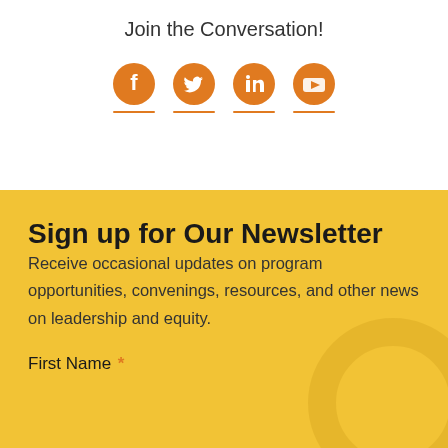Join the Conversation!
[Figure (infographic): Four orange social media icons: Facebook, Twitter, LinkedIn, YouTube, each with an orange underline below]
Sign up for Our Newsletter
Receive occasional updates on program opportunities, convenings, resources, and other news on leadership and equity.
First Name *